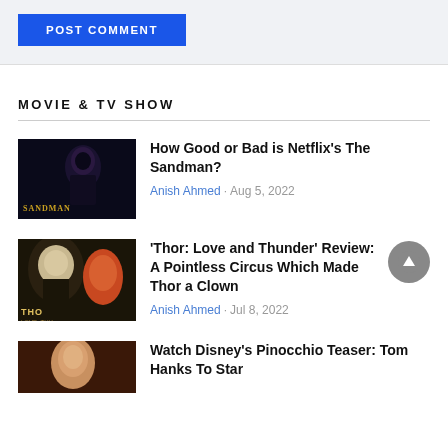[Figure (screenshot): POST COMMENT button (blue background, white uppercase text)]
MOVIE & TV SHOW
[Figure (photo): Thumbnail for The Sandman article — dark fantasy figure]
How Good or Bad is Netflix's The Sandman?
Anish Ahmed · Aug 5, 2022
[Figure (photo): Thumbnail for Thor: Love and Thunder article]
'Thor: Love and Thunder' Review: A Pointless Circus Which Made Thor a Clown
Anish Ahmed · Jul 8, 2022
[Figure (photo): Thumbnail for Pinocchio article]
Watch Disney's Pinocchio Teaser: Tom Hanks To Star